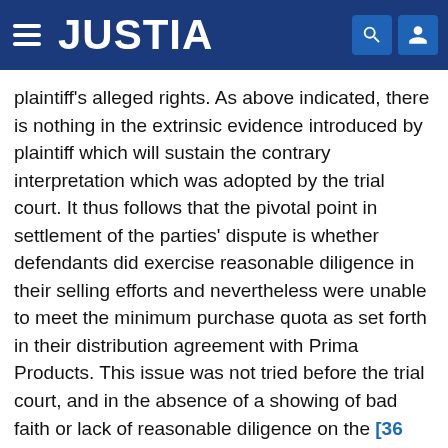JUSTIA
plaintiff's alleged rights. As above indicated, there is nothing in the extrinsic evidence introduced by plaintiff which will sustain the contrary interpretation which was adopted by the trial court. It thus follows that the pivotal point in settlement of the parties' dispute is whether defendants did exercise reasonable diligence in their selling efforts and nevertheless were unable to meet the minimum purchase quota as set forth in their distribution agreement with Prima Products. This issue was not tried before the trial court, and in the absence of a showing of bad faith or lack of reasonable diligence on the [36 Cal. 2d 471] part of defendants, there is no basis for plaintiff's recovery of damages against defendants in reliance upon the terms of the royalty agreement.
The judgment is reversed.